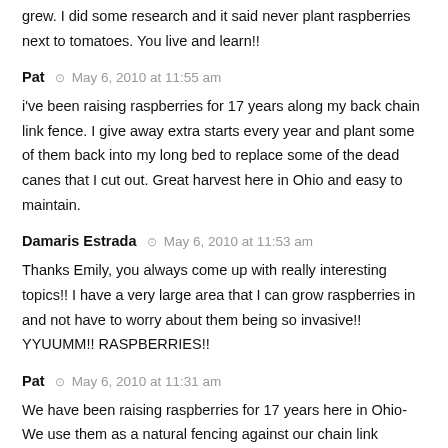grew. I did some research and it said never plant raspberries next to tomatoes. You live and learn!!
Pat · May 6, 2010 at 11:55 am
i've been raising raspberries for 17 years along my back chain link fence. I give away extra starts every year and plant some of them back into my long bed to replace some of the dead canes that I cut out. Great harvest here in Ohio and easy to maintain.
Damaris Estrada · May 6, 2010 at 11:53 am
Thanks Emily, you always come up with really interesting topics!! I have a very large area that I can grow raspberries in and not have to worry about them being so invasive!! YYUUMM!! RASPBERRIES!!
Pat · May 6, 2010 at 11:31 am
We have been raising raspberries for 17 years here in Ohio- We use them as a natural fencing against our chain link fencing-